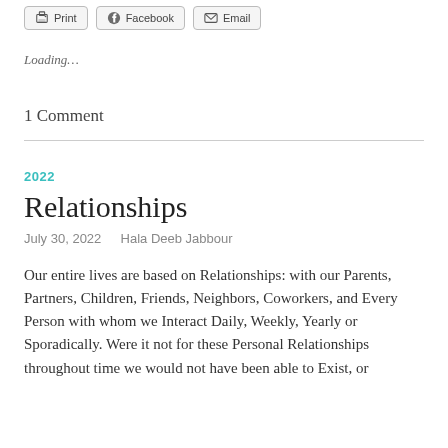Print  Facebook  Email
Loading…
1 Comment
2022
Relationships
July 30, 2022   Hala Deeb Jabbour
Our entire lives are based on Relationships: with our Parents, Partners, Children, Friends, Neighbors, Coworkers, and Every Person with whom we Interact Daily, Weekly, Yearly or Sporadically. Were it not for these Personal Relationships throughout time we would not have been able to Exist, or